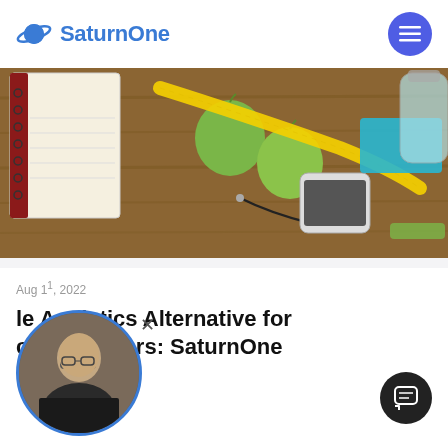SaturnOne
[Figure (photo): Flat lay photo on wooden table showing a notebook, green apples, yellow measuring tape, earphones, white smartphone, blue towel, and a water bottle — health and fitness theme]
August 2022
le Analytics Alternative for cal Marketers: SaturnOne
Read more →
[Figure (photo): Circular avatar photo of a man with glasses wearing a dark shirt]